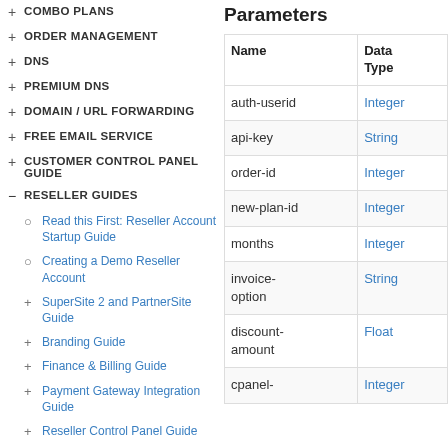+ COMBO PLANS
+ ORDER MANAGEMENT
+ DNS
+ PREMIUM DNS
+ DOMAIN / URL FORWARDING
+ FREE EMAIL SERVICE
+ CUSTOMER CONTROL PANEL GUIDE
- RESELLER GUIDES
○ Read this First: Reseller Account Startup Guide
○ Creating a Demo Reseller Account
+ SuperSite 2 and PartnerSite Guide
+ Branding Guide
+ Finance & Billing Guide
+ Payment Gateway Integration Guide
+ Reseller Control Panel Guide
Parameters
| Name | Data Type |
| --- | --- |
| auth-userid | Integer |
| api-key | String |
| order-id | Integer |
| new-plan-id | Integer |
| months | Integer |
| invoice-option | String |
| discount-amount | Float |
| cpanel- | Integer |